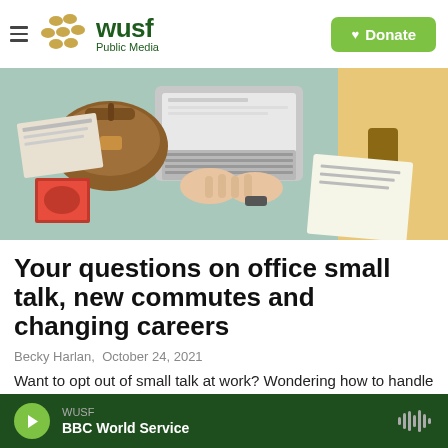WUSF Public Media — Donate
[Figure (photo): Overhead view of a desk with a laptop, a brown leather bag, scattered letters and postcards, and a person in a yellow jacket holding books]
Your questions on office small talk, new commutes and changing careers
Becky Harlan,  October 24, 2021
Want to opt out of small talk at work? Wondering how to handle a low GPA on job applications? Life
WUSF  BBC World Service